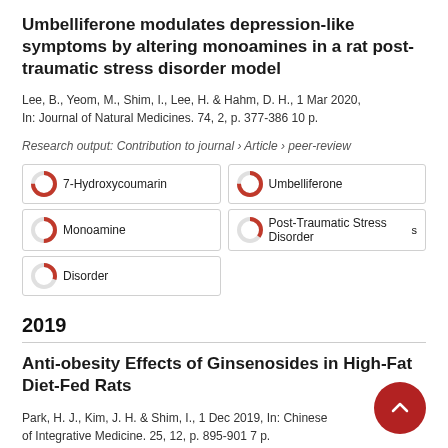Umbelliferone modulates depression-like symptoms by altering monoamines in a rat post-traumatic stress disorder model
Lee, B., Yeom, M., Shim, I., Lee, H. & Hahm, D. H., 1 Mar 2020, In: Journal of Natural Medicines. 74, 2, p. 377-386 10 p.
Research output: Contribution to journal › Article › peer-review
[Figure (infographic): Five keyword badges with donut/pie chart icons indicating coverage percentage: 7-Hydroxycoumarin (100%), Umbelliferone (100%), Monoamine (75%), Post-Traumatic Stress Disorders (60%), Disorder (55%)]
2019
Anti-obesity Effects of Ginsenosides in High-Fat Diet-Fed Rats
Park, H. J., Kim, J. H. & Shim, I., 1 Dec 2019, In: Chinese Journal of Integrative Medicine. 25, 12, p. 895-901 7 p.
Research output: Contribution to journal › Article › peer-review